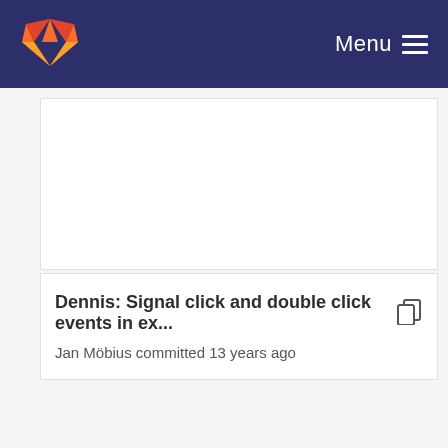Menu
Dennis: Signal click and double click events in ex...
Jan Möbius committed 13 years ago